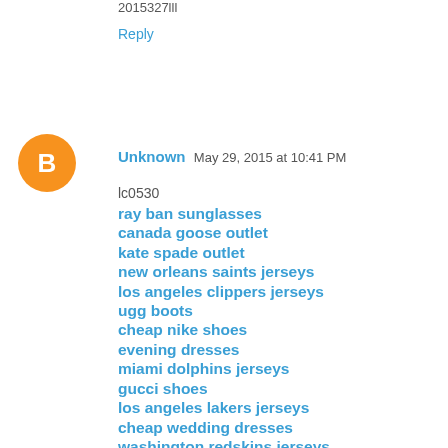2015327lll
Reply
Unknown May 29, 2015 at 10:41 PM
lc0530
ray ban sunglasses
canada goose outlet
kate spade outlet
new orleans saints jerseys
los angeles clippers jerseys
ugg boots
cheap nike shoes
evening dresses
miami dolphins jerseys
gucci shoes
los angeles lakers jerseys
cheap wedding dresses
washington redskins jerseys
stuart weitzman boots
soccer shoes
burberry outlet